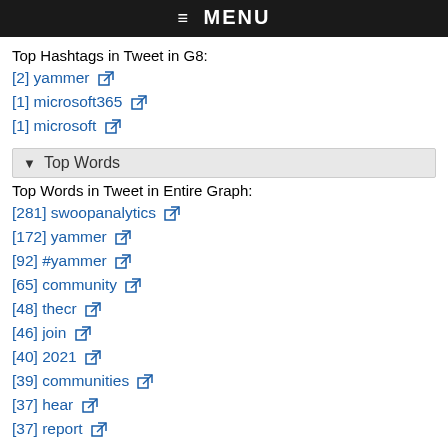≡ MENU
Top Hashtags in Tweet in G8:
[2] yammer
[1] microsoft365
[1] microsoft
▾ Top Words
Top Words in Tweet in Entire Graph:
[281] swoopanalytics
[172] yammer
[92] #yammer
[65] community
[48] thecr
[46] join
[40] 2021
[39] communities
[37] hear
[37] report
Top Words in Tweet in G1:
[129] yammer
[104] swoopanalytics
[76] #yammer
[35] community
[30] 2021
[29] communities